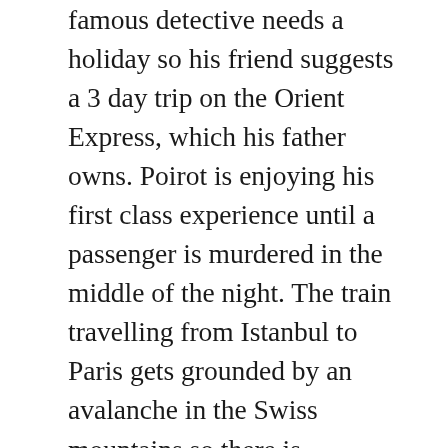famous detective needs a holiday so his friend suggests a 3 day trip on the Orient Express, which his father owns. Poirot is enjoying his first class experience until a passenger is murdered in the middle of the night. The train travelling from Istanbul to Paris gets grounded by an avalanche in the Swiss mountains so there is nowhere to go and nowhere to hide. As the tagline goes, everyone is a suspect. This film depicts the era of the 1930s down to the finest detail. Kenneth Branagh's moustache is also a great costume piece. This murder mystery will become a classic for years to come. There is a reason Agatha Christie is the best selling novelist of all time. Her stories are timeless. An all star ensemble cast feature: Kenneth Branagh (Mr. Wordsmith Marilyn)